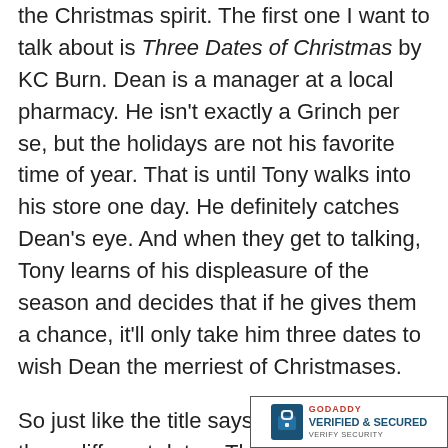the Christmas spirit. The first one I want to talk about is Three Dates of Christmas by KC Burn. Dean is a manager at a local pharmacy. He isn't exactly a Grinch per se, but the holidays are not his favorite time of year. That is until Tony walks into his store one day. He definitely catches Dean's eye. And when they get to talking, Tony learns of his displeasure of the season and decides that if he gives them a chance, it'll only take him three dates to wish Dean the merriest of Christmases.
So just like the title says, they do go on three different dates. The first one is to a local historical site, a pioneer village that is tastefully ducked out for the holidays. Tony is slowly walking Dean towards festivness. So it's sort of like low key Christmas. It's really charming and really lovely. A nice start to get to know each other during these different activities.
He also takes them ice skating downto...
[Figure (logo): GoDaddy Verified & Secured badge with lock icon]